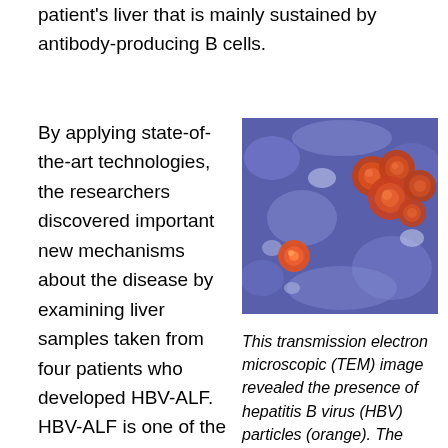patient's liver that is mainly sustained by antibody-producing B cells.
By applying state-of-the-art technologies, the researchers discovered important new mechanisms about the disease by examining liver samples taken from four patients who developed HBV-ALF. HBV-ALF is one of the most dramatic clinical syndromes in medicine, according
[Figure (photo): Transmission electron microscopic (TEM) image showing hepatitis B virus (HBV) particles in orange against a blue/purple background. Round virions are visible clustered together.]
This transmission electron microscopic (TEM) image revealed the presence of hepatitis B virus (HBV) particles (orange). The round virions, which measure 42nm in diameter, are known as